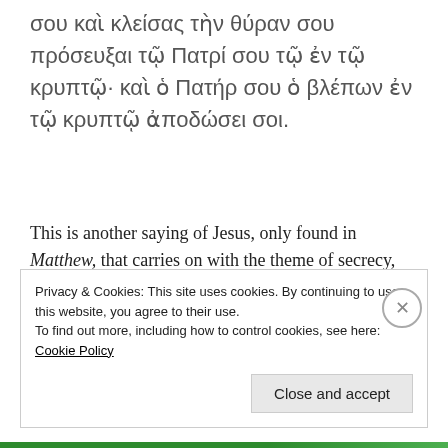σου καὶ κλείσας τὴν θύραν σου πρόσευξαι τῷ Πατρί σου τῷ ἐν τῷ κρυπτῷ· καὶ ὁ Πατήρ σου ὁ βλέπων ἐν τῷ κρυπτῷ ἀποδώσει σοι.
This is another saying of Jesus, only found in Matthew, that carries on with the theme of secrecy, but this time it is about prayer. When the followers of Jesus were to pray (σὺ δὲ ὅταν προσεύχῃ), they
Privacy & Cookies: This site uses cookies. By continuing to use this website, you agree to their use.
To find out more, including how to control cookies, see here: Cookie Policy